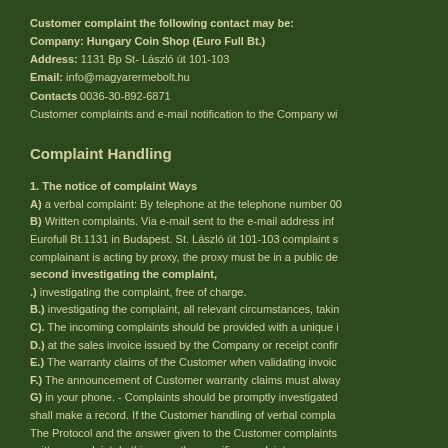Customer complaint the following contact may be:
Company: Hungary Coin Shop (Euro Full Bt.)
Address: 1131 Bp St- László út 101-103
Email: info@magyarermebolt.hu
Contacts 0036-30-892-6871
Customer complaints and e-mail notification to the Company wi...
Complaint Handling
1. The notice of complaint Ways
A) a verbal complaint: By telephone at the telephone number 00...
B) Written complaints. Via e-mail sent to the e-mail address inf... Eurofull Bt.1131 in Budapest. St. László út 101-103 complaint s... complainant is acting by proxy, the proxy must be in a public de... second investigating the complaint,
.) investigating the complaint, free of charge.
B.) investigating the complaint, all relevant circumstances, takin...
C). The incoming complaints should be provided with a unique i...
D.) at the sales invoice issued by the Company or receipt confir...
E.) The warranty claims of the Customer when validating invoic...
F.) The announcement of Customer warranty claims must alway...
G) in your phone. - Complaints should be promptly investigated... shall make a record. If the Customer handling of verbal compla... The Protocol and the answer given to the Customer complaints... written complaint. In this case, the specific complaint...